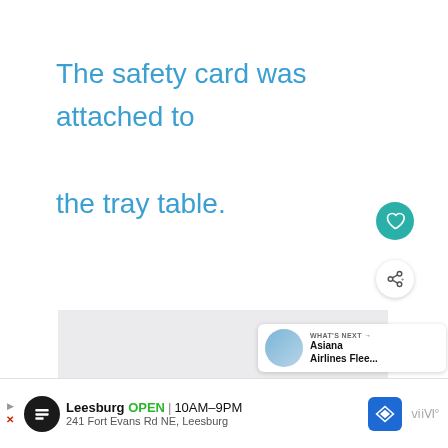The safety card was attached to the tray table.
[Figure (screenshot): Gray placeholder image area with UI overlay elements: a teal heart/favorite button, a white share button, a 'What's Next' card showing 'Asiana Airlines Flee...' with a thumbnail, and an advertisement banner at the bottom for Leesburg store open 10AM-9PM at 241 Fort Evans Rd NE, Leesburg.]